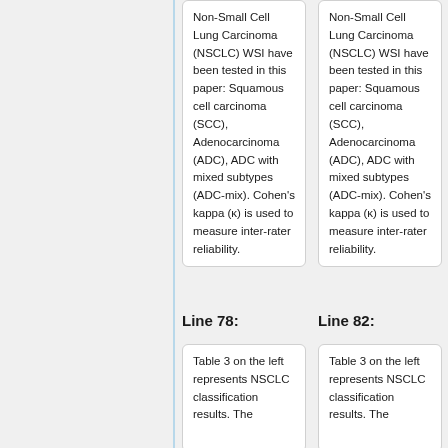Non-Small Cell Lung Carcinoma (NSCLC) WSI have been tested in this paper: Squamous cell carcinoma (SCC), Adenocarcinoma (ADC), ADC with mixed subtypes (ADC-mix). Cohen's kappa (κ) is used to measure inter-rater reliability.
Non-Small Cell Lung Carcinoma (NSCLC) WSI have been tested in this paper: Squamous cell carcinoma (SCC), Adenocarcinoma (ADC), ADC with mixed subtypes (ADC-mix). Cohen's kappa (κ) is used to measure inter-rater reliability.
Line 78:
Line 82:
Table 3 on the left represents NSCLC classification results. The
Table 3 on the left represents NSCLC classification results. The